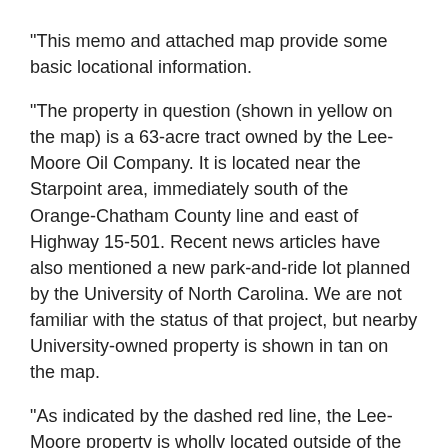"This memo and attached map provide some basic locational information.
"The property in question (shown in yellow on the map) is a 63-acre tract owned by the Lee-Moore Oil Company. It is located near the Starpoint area, immediately south of the Orange-Chatham County line and east of Highway 15-501. Recent news articles have also mentioned a new park-and-ride lot planned by the University of North Carolina. We are not familiar with the status of that project, but nearby University-owned property is shown in tan on the map.
"As indicated by the dashed red line, the Lee-Moore property is wholly located outside of the University Lake watershed, which is generally west of 15-501. A small southwestern portion of the UNC property appears to be within the watershed, but we have not verified this in the field. Virtually all of the UNC and Lee-Moore tracts drain in a northeasterly direction away from University Lake and toward Wilson Creek."
If anyone would like a PDF of the "attached map" please email me at Mark. Chilton@Hotmail.com and I will send it to you. I